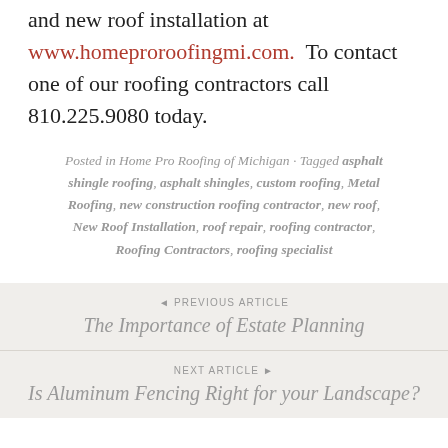and new roof installation at www.homeproroofingmi.com.  To contact one of our roofing contractors call 810.225.9080 today.
Posted in Home Pro Roofing of Michigan · Tagged asphalt shingle roofing, asphalt shingles, custom roofing, Metal Roofing, new construction roofing contractor, new roof, New Roof Installation, roof repair, roofing contractor, Roofing Contractors, roofing specialist
◄ PREVIOUS ARTICLE
The Importance of Estate Planning
NEXT ARTICLE ►
Is Aluminum Fencing Right for your Landscape?